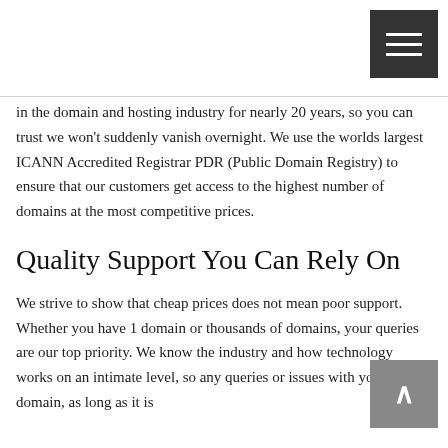in the domain and hosting industry for nearly 20 years, so you can trust we won't suddenly vanish overnight. We use the worlds largest ICANN Accredited Registrar PDR (Public Domain Registry) to ensure that our customers get access to the highest number of domains at the most competitive prices.
Quality Support You Can Rely On
We strive to show that cheap prices does not mean poor support. Whether you have 1 domain or thousands of domains, your queries are our top priority. We know the industry and how technology works on an intimate level, so any queries or issues with your domain, as long as it is